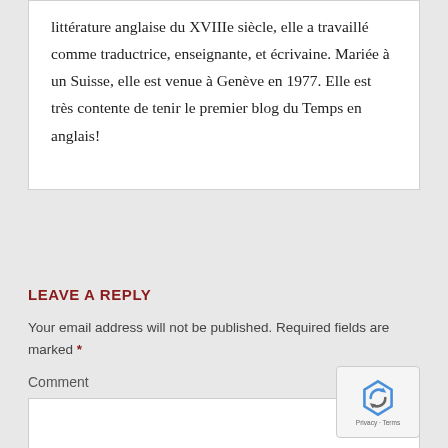littérature anglaise du XVIIIe siècle, elle a travaillé comme traductrice, enseignante, et écrivaine. Mariée à un Suisse, elle est venue à Genève en 1977. Elle est très contente de tenir le premier blog du Temps en anglais!
LEAVE A REPLY
Your email address will not be published. Required fields are marked *
Comment
[Figure (other): reCAPTCHA privacy badge in bottom right corner showing recycling-arrows logo and Privacy · Terms text]